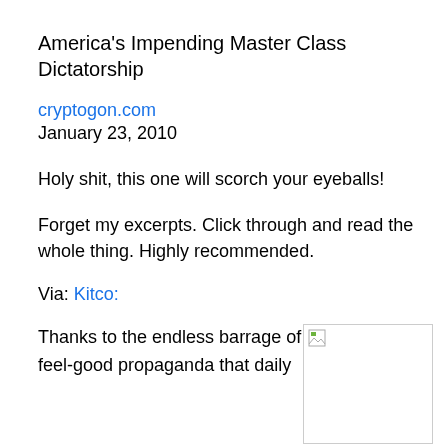America's Impending Master Class Dictatorship
cryptogon.com
January 23, 2010
Holy shit, this one will scorch your eyeballs!
Forget my excerpts. Click through and read the whole thing. Highly recommended.
Via: Kitco:
Thanks to the endless barrage of feel-good propaganda that daily
[Figure (photo): Broken/placeholder image icon in top-left corner of a bordered rectangle]